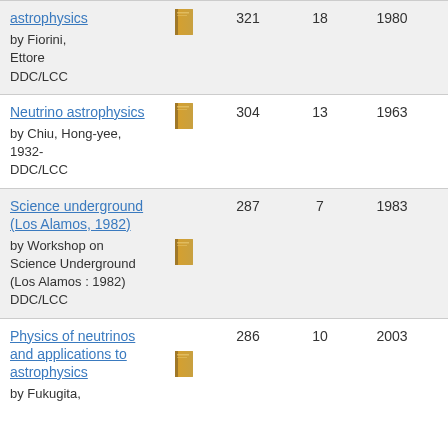| Title/Author | Icon | Pages | Editions | Year From | Year To |
| --- | --- | --- | --- | --- | --- |
| astrophysics by Fiorini, Ettore DDC/LCC | [book] | 321 | 18 | 1980 | 1982 |
| Neutrino astrophysics by Chiu, Hong-yee, 1932- DDC/LCC | [book] | 304 | 13 | 1963 | 1965 |
| Science underground (Los Alamos, 1982) by Workshop on Science Underground (Los Alamos : 1982) DDC/LCC | [book] | 287 | 7 | 1983 | 1983 |
| Physics of neutrinos and applications to astrophysics by Fukugita, | [book] | 286 | 10 | 2003 | 2010 |